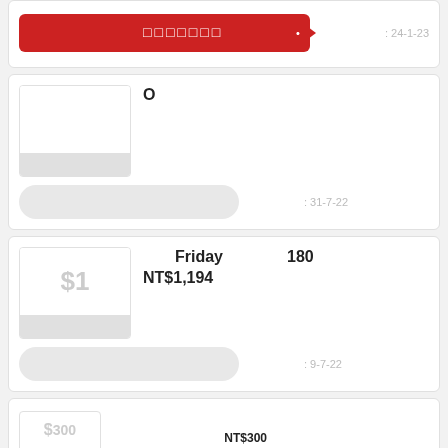[Figure (screenshot): Top partial card with red button showing placeholder text and date 24-1-23]
[Figure (screenshot): Card showing placeholder product image, title with O and placeholder characters, gray action button, date 31-7-22]
[Figure (screenshot): Card showing $1 product image, title with Friday 180 and NT$1,194, gray action button, date 9-7-22]
[Figure (screenshot): Bottom partial card showing product with $300 price area and placeholder text NT$300]